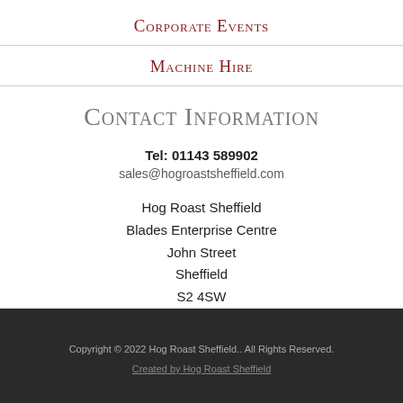Corporate Events
Machine Hire
Contact Information
Tel: 01143 589902
sales@hogroastsheffield.com
Hog Roast Sheffield
Blades Enterprise Centre
John Street
Sheffield
S2 4SW
Copyright © 2022 Hog Roast Sheffield.. All Rights Reserved.
Created by Hog Roast Sheffield